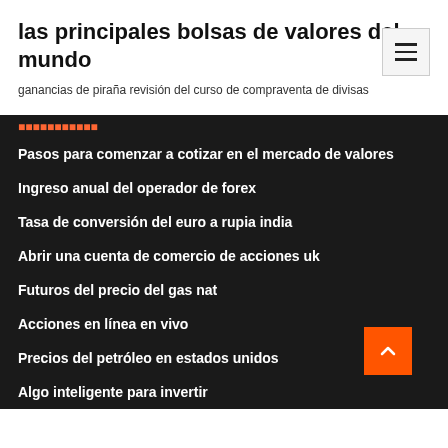las principales bolsas de valores del mundo
ganancias de piraña revisión del curso de compraventa de divisas
Pasos para comenzar a cotizar en el mercado de valores
Ingreso anual del operador de forex
Tasa de conversión del euro a rupia india
Abrir una cuenta de comercio de acciones uk
Futuros del precio del gas nat
Acciones en línea en vivo
Precios del petróleo en estados unidos
Algo inteligente para invertir